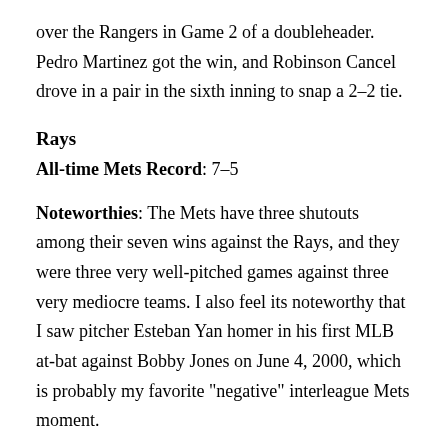over the Rangers in Game 2 of a doubleheader. Pedro Martinez got the win, and Robinson Cancel drove in a pair in the sixth inning to snap a 2–2 tie.
Rays
All-time Mets Record: 7-5
Noteworthies: The Mets have three shutouts among their seven wins against the Rays, and they were three very well-pitched games against three very mediocre teams. I also feel its noteworthy that I saw pitcher Esteban Yan homer in his first MLB at-bat against Bobby Jones on June 4, 2000, which is probably my favorite "negative" interleague Mets moment.
How do I feel about em?: I like em...I'd never had a #2 team